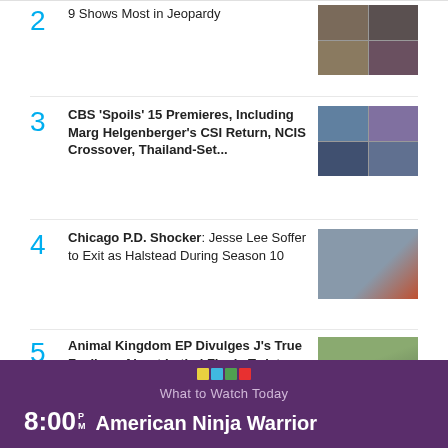2 ABC's 10-11PM: How its 9 Shows Most in Jeopardy
3 CBS 'Spoils' 15 Premieres, Including Marg Helgenberger's CSI Return, NCIS Crossover, Thailand-Set...
4 Chicago P.D. Shocker: Jesse Lee Soffer to Exit as Halstead During Season 10
5 Animal Kingdom EP Divulges J's True Feelings About Lethal Finale Twist
What to Watch Today
8:00 PM American Ninja Warrior